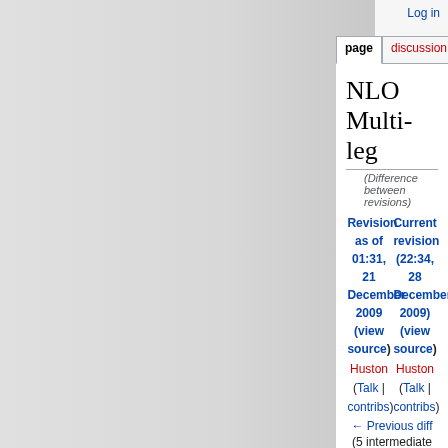Log in
page | discussion | view source | history
NLO Multi-leg
(Difference between revisions)
Revision as of 01:31, 21 December 2009 (view source)
Huston (Talk | contribs)
← Previous diff
Current revision (22:34, 28 December 2009) (view source)
Huston (Talk | contribs)
(5 intermediate revisions not shown.)
| Line 39: | Line 39: |
| --- | --- |
| The planned outline would be: | The planned outline would be: |
| - "Recent advance in analytic computations of one-loop amplitudes" | + "[Recent advance in analytic computations of one-loop amplitudes] [http://www.pa.msu.edu/~huston/les_houches_2009/analytic1l_leshouches09.pdf]" |